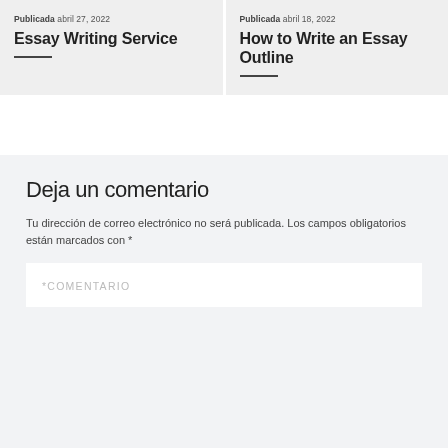Publicada abril 27, 2022
Essay Writing Service
Publicada abril 18, 2022
How to Write an Essay Outline
Deja un comentario
Tu dirección de correo electrónico no será publicada. Los campos obligatorios están marcados con *
*COMENTARIO